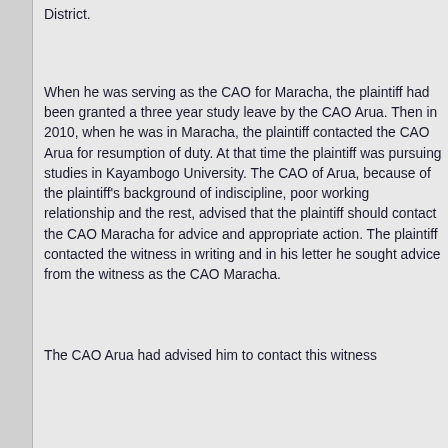District.
When he was serving as the CAO for Maracha, the plaintiff had been granted a three year study leave by the CAO Arua. Then in 2010, when he was in Maracha, the plaintiff contacted the CAO Arua for resumption of duty. At that time the plaintiff was pursuing studies in Kayambogo University. The CAO of Arua, because of the plaintiff's background of indiscipline, poor working relationship and the rest, advised that the plaintiff should contact the CAO Maracha for advice and appropriate action. The plaintiff contacted the witness in writing and in his letter he sought advice from the witness as the CAO Maracha.
The CAO Arua had advised him to contact this witness